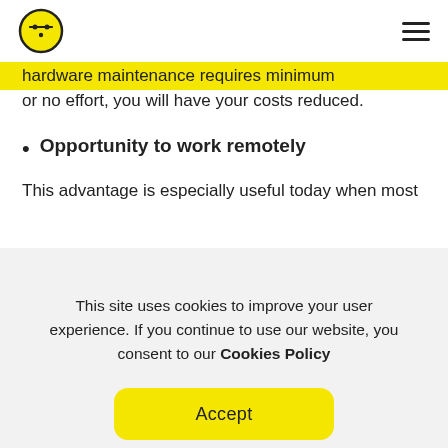[Figure (logo): Yellow circle with a face/emoji logo and hamburger menu icon]
hardware maintenance requires minimum or no effort, you will have your costs reduced.
Opportunity to work remotely
This advantage is especially useful today when most
This site uses cookies to improve your user experience. If you continue to use our website, you consent to our Cookies Policy
center software that will meet your goals. From the most